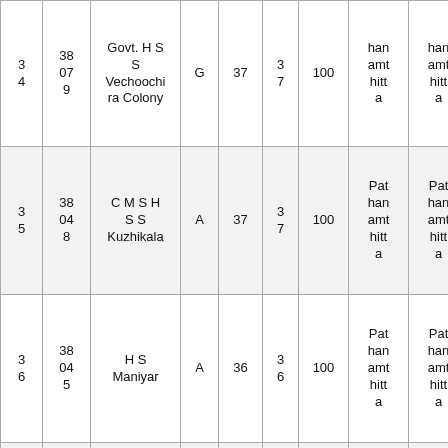| 3 4 | 38 07 9 | Govt. H S S Vechoochira Colony | G | 37 | 3 7 | 100 | han amt hitta | han amt hitta |
| 3 5 | 38 04 8 | C M S H S S Kuzhikala | A | 37 | 3 7 | 100 | Pat han amt hitta | Pat han amt hitta |
| 3 6 | 38 04 5 | H S Maniyar | A | 36 | 3 6 | 100 | Pat han amt hitta | Pat han amt hitta |
|  |  |  |  |  |  |  | Pat | Pat |